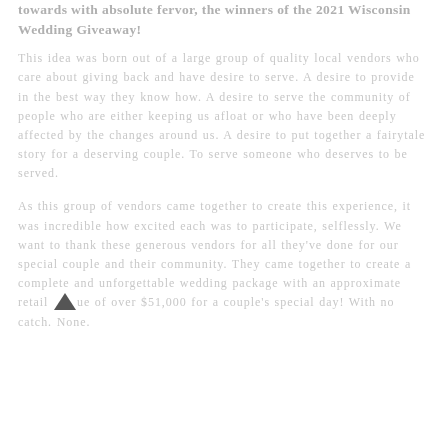towards with absolute fervor, the winners of the 2021 Wisconsin Wedding Giveaway!
This idea was born out of a large group of quality local vendors who care about giving back and have desire to serve. A desire to provide in the best way they know how. A desire to serve the community of people who are either keeping us afloat or who have been deeply affected by the changes around us. A desire to put together a fairytale story for a deserving couple. To serve someone who deserves to be served.
As this group of vendors came together to create this experience, it was incredible how excited each was to participate, selflessly. We want to thank these generous vendors for all they've done for our special couple and their community. They came together to create a complete and unforgettable wedding package with an approximate retail value of over $51,000 for a couple's special day! With no catch. None.